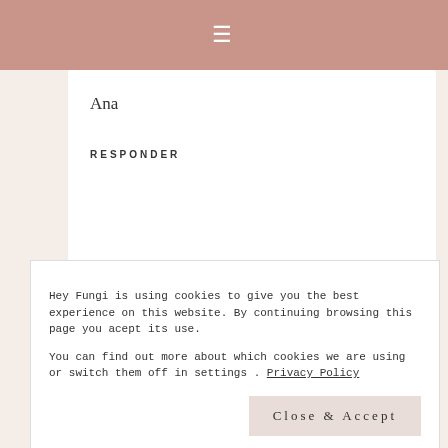≡
Ana
RESPONDER
JULIETTE  14 junio, 2013 a las 11:31 PM
Tengo tantísimas ganas de ir a Coyoacán, me han comentado que hay muchas cosas interesantes por ver. Wooow ya quiero ver el post que harás
Hey Fungi is using cookies to give you the best experience on this website. By continuing browsing this page you acept its use.

You can find out more about which cookies we are using or switch them off in settings . Privacy Policy
Close & Accept
RESPONDER